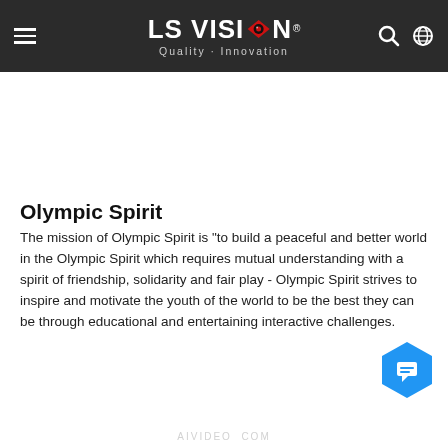LS VISION · Quality · Innovation
Olympic Spirit
The mission of Olympic Spirit is "to build a peaceful and better world in the Olympic Spirit which requires mutual understanding with a spirit of friendship, solidarity and fair play - Olympic Spirit strives to inspire and motivate the youth of the world to be the best they can be through educational and entertaining interactive challenges.